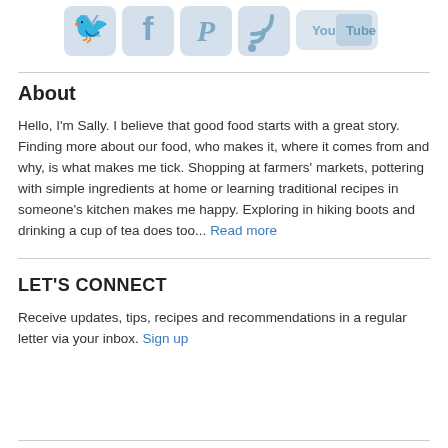[Figure (illustration): Social media icons: Twitter bird, Facebook f, Pinterest p, RSS feed, YouTube logo — rendered in light blue/grey tones at the top of the page]
About
Hello, I'm Sally. I believe that good food starts with a great story. Finding more about our food, who makes it, where it comes from and why, is what makes me tick. Shopping at farmers' markets, pottering with simple ingredients at home or learning traditional recipes in someone's kitchen makes me happy. Exploring in hiking boots and drinking a cup of tea does too... Read more
LET'S CONNECT
Receive updates, tips, recipes and recommendations in a regular letter via your inbox. Sign up